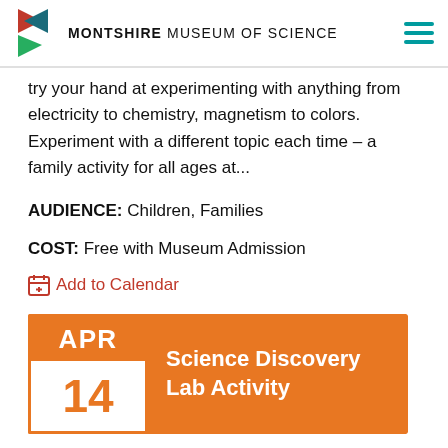MONTSHIRE MUSEUM OF SCIENCE
try your hand at experimenting with anything from electricity to chemistry, magnetism to colors. Experiment with a different topic each time – a family activity for all ages at...
AUDIENCE: Children, Families
COST: Free with Museum Admission
Add to Calendar
View Event Details >>
APR 14 Science Discovery Lab Activity